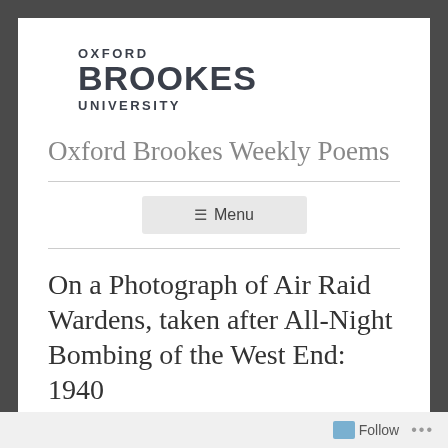[Figure (logo): Oxford Brookes University logo — three lines: OXFORD in small caps, BROOKES in large bold sans-serif, UNIVERSITY in small caps]
Oxford Brookes Weekly Poems
≡ Menu
On a Photograph of Air Raid Wardens, taken after All-Night Bombing of the West End: 1940
Follow ...